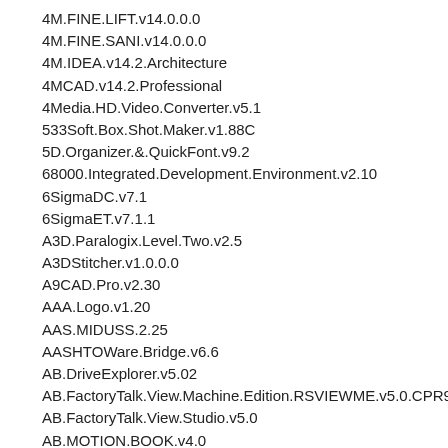4M.FINE.LIFT.v14.0.0.0
4M.FINE.SANI.v14.0.0.0
4M.IDEA.v14.2.Architecture
4MCAD.v14.2.Professional
4Media.HD.Video.Converter.v5.1
533Soft.Box.Shot.Maker.v1.88C
5D.Organizer.&.QuickFont.v9.2
68000.Integrated.Development.Environment.v2.10
6SigmaDC.v7.1
6SigmaET.v7.1.1
A3D.Paralogix.Level.Two.v2.5
A3DStitcher.v1.0.0.0
A9CAD.Pro.v2.30
AAA.Logo.v1.20
AAS.MIDUSS.2.25
AASHTOWare.Bridge.v6.6
AB.DriveExplorer.v5.02
AB.FactoryTalk.View.Machine.Edition.RSVIEWME.v5.0.CPR9
AB.FactoryTalk.View.Studio.v5.0
AB.MOTION.BOOK.v4.0
AB.ROCKWELL.RSSQL.v8.0
ab.rsemu5000.v20
ab.rslinx.v2.59